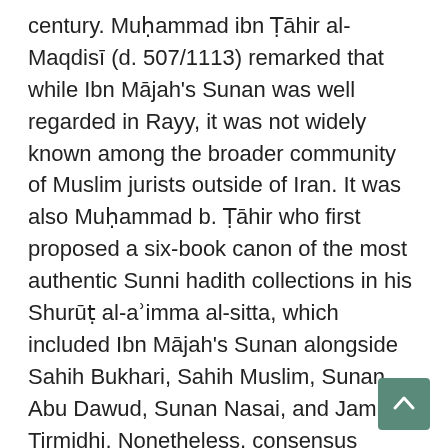century. Muḥammad ibn Ṭāhir al-Maqdisī (d. 507/1113) remarked that while Ibn Mājah's Sunan was well regarded in Rayy, it was not widely known among the broader community of Muslim jurists outside of Iran. It was also Muḥammad b. Ṭāhir who first proposed a six-book canon of the most authentic Sunni hadith collections in his Shurūṭ al-aʾimma al-sitta, which included Ibn Mājah's Sunan alongside Sahih Bukhari, Sahih Muslim, Sunan Abu Dawud, Sunan Nasai, and Jami al-Tirmidhi. Nonetheless, consensus among Sunni scholars concerning this six-book canon, which included Ibn Mājah's Sunan, did not occur until the 7th/13th century, and even then this consensus was largely contained to the Sunni scholarly community in the eastern Islamic world. Scholars such as al-Nawawi (d. 676/1277) and Ibn Khaldun (d. 808/1405) excluded Sunan Ibn Mājah from their lists of canonical Sunni